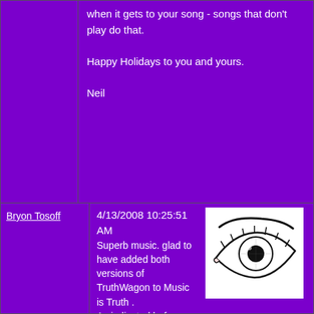when it gets to your song - songs that don't play do that.

Happy Holidays to you and yours.

Neil
Bryon Tosoff
4/13/2008 10:25:51 AM
Superb music. glad to have added both versions of TruthWagon to Music is Truth .
As indicated before some Great Music is coming from Jay and the band, thanks for visting the Music is Truth Station and stating your position in the political side of things occuring in the USA

As for the music and hooking up perhaps the bluevoodoo will get down to San Antonio in June. still dealing with negotiations.
Bryon Tosoff. manager and promoter of the bluevoodoo, Vancouver, Canada
http://www.thebluevoodoo.com
Voodoohead
http://www.voodoohead.ca
[Figure (illustration): Black and white illustration of an eye with eyebrow, detailed linework style]